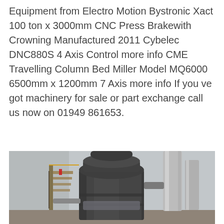Equipment from Electro Motion Bystronic Xact 100 ton x 3000mm CNC Press Brakewith Crowning Manufactured 2011 Cybelec DNC880S 4 Axis Control more info CME Travelling Column Bed Miller Model MQ6000 6500mm x 1200mm 7 Axis more info If you ve got machinery for sale or part exchange call us now on 01949 861653.
Get Price
[Figure (photo): Industrial photograph showing a large dark grey cylindrical vessel/mill machine in an industrial building, with metallic ducting pipes on the right, stairs/walkway visible on the left, and a light grey warehouse interior background.]